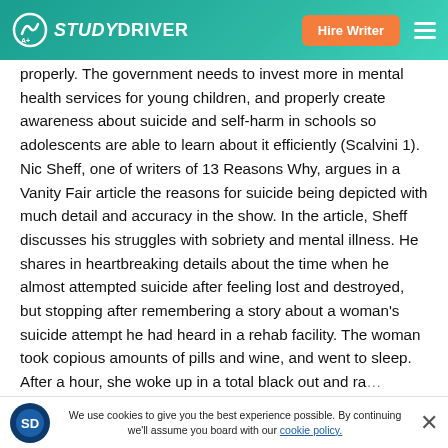STUDYDRIVER — Hire Writer
properly. The government needs to invest more in mental health services for young children, and properly create awareness about suicide and self-harm in schools so adolescents are able to learn about it efficiently (Scalvini 1). Nic Sheff, one of writers of 13 Reasons Why, argues in a Vanity Fair article the reasons for suicide being depicted with much detail and accuracy in the show. In the article, Sheff discusses his struggles with sobriety and mental illness. He shares in heartbreaking details about the time when he almost attempted suicide after feeling lost and destroyed, but stopping after remembering a story about a woman's suicide attempt he had heard in a rehab facility. The woman took copious amounts of pills and wine, and went to sleep. After a hour, she woke up in a total black out and ra… projectile vomiting blood and bodily fluids. The incident
We use cookies to give you the best experience possible. By continuing we'll assume you board with our cookie policy.